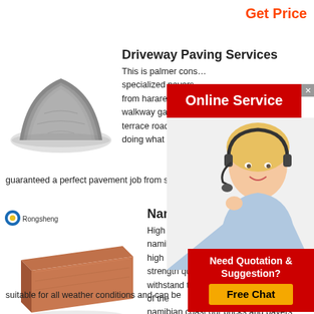Get Price
Driveway Paving Services
[Figure (photo): Pile of grey powder/aggregate material]
This is palmer cons… specialized pavers … from harare for all r… walkway garden pa… terrace roads and i… doing what we kno… guaranteed a perfect pavement job from site preparatic
[Figure (infographic): Online Service popup with woman wearing headset]
[Figure (photo): Red clay brick with Rongsheng brand logo]
Namclay Bric…
High strength clay b… namibia our clay bricks and pavers are high strength quality bricks that are able to withstand the harsh weather conditions of the namibian coast our bricks and pavers are suitable for all weather conditions and can be
[Figure (infographic): Need Quotation & Suggestion? Free Chat popup]
Get Price